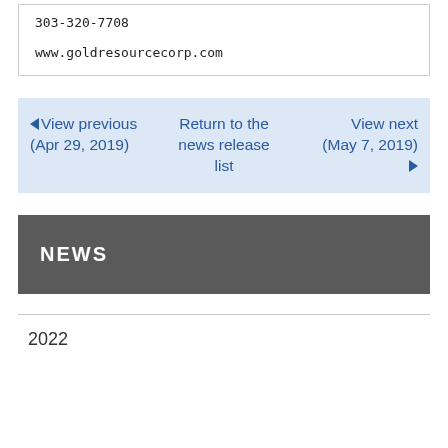303-320-7708
www.goldresourcecorp.com
◄ View previous (Apr 29, 2019)   Return to the news release list   View next (May 7, 2019) ►
NEWS
2022